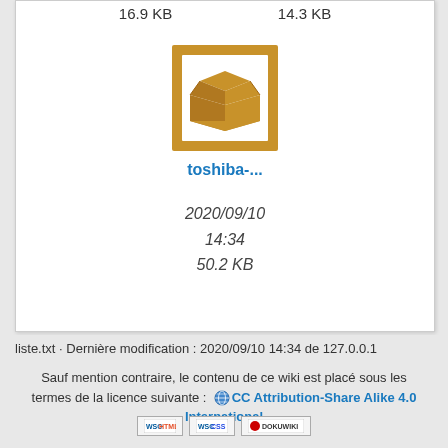16.9 KB    14.3 KB
[Figure (illustration): Open box/package icon with golden-brown border frame on white background]
toshiba-...
2020/09/10
14:34
50.2 KB
liste.txt · Dernière modification : 2020/09/10 14:34 de 127.0.0.1
Sauf mention contraire, le contenu de ce wiki est placé sous les termes de la licence suivante :  CC Attribution-Share Alike 4.0 International
[Figure (logo): WSC HTML5 badge, WSC CSS badge, DokuWiki badge]